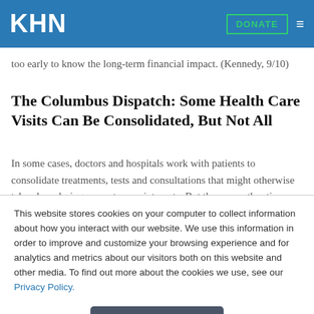KHN
too early to know the long-term financial impact. (Kennedy, 9/10)
The Columbus Dispatch: Some Health Care Visits Can Be Consolidated, But Not All
In some cases, doctors and hospitals work with patients to consolidate treatments, tests and consultations that might otherwise take place during separate appointments. But there are other times when what seems logical to a patient doesn't
This website stores cookies on your computer to collect information about how you interact with our website. We use this information in order to improve and customize your browsing experience and for analytics and metrics about our visitors both on this website and other media. To find out more about the cookies we use, see our Privacy Policy.